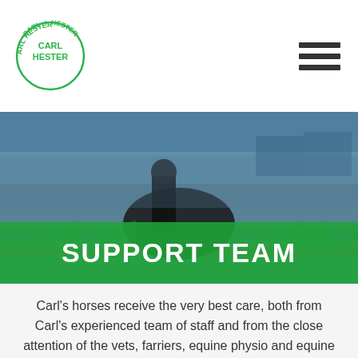[Figure (logo): Carl Hester circular logo with green border and text around the circle]
[Figure (photo): Equestrian dressage competition photo with rider in black formal attire on dark horse, audience in background, with green SUPPORT TEAM banner overlay]
SUPPORT TEAM
Carl's horses receive the very best care, both from Carl's experienced team of staff and from the close attention of the vets, farriers, equine physio and equine dentist that are very much part of the team.
Carl has chosen the very best vets, farriers